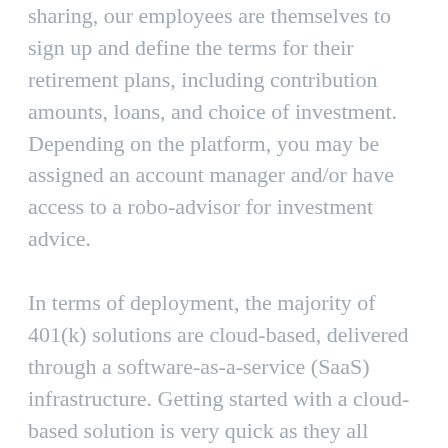sharing, our employees are themselves to sign up and define the terms for their retirement plans, including contribution amounts, loans, and choice of investment. Depending on the platform, you may be assigned an account manager and/or have access to a robo-advisor for investment advice.
In terms of deployment, the majority of 401(k) solutions are cloud-based, delivered through a software-as-a-service (SaaS) infrastructure. Getting started with a cloud-based solution is very quick as they all allow you to create an account and start configuring your instance right away.
On the other hand, some 401(k) solutions are self-hosted (on-premise). Self-hosted solutions generally